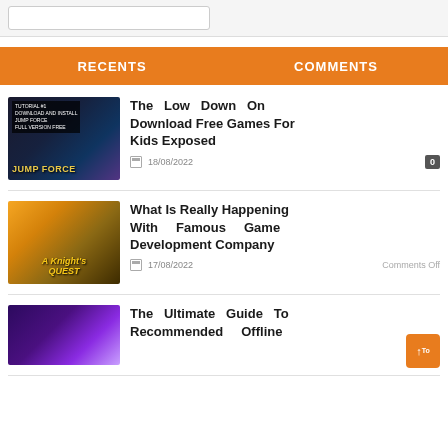RECENTS
COMMENTS
[Figure (screenshot): Jump Force game thumbnail showing anime characters with dark background]
The Low Down On Download Free Games For Kids Exposed
18/08/2022
[Figure (screenshot): A Knight's Quest game thumbnail with fantasy characters]
What Is Really Happening With Famous Game Development Company
17/08/2022
Comments Off
[Figure (screenshot): Game with purple cosmic background thumbnail]
The Ultimate Guide To Recommended Offline